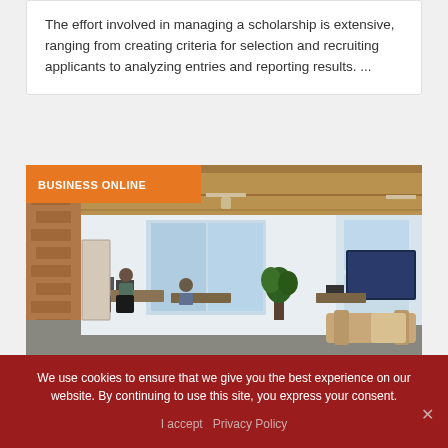The effort involved in managing a scholarship is extensive, ranging from creating criteria for selection and recruiting applicants to analyzing entries and reporting results. ...
[Figure (photo): Open-plan office space with people working at desks, large windows, exposed ceiling with wooden beams, and a large TV screen on the right wall. A 'BUSINESS ONLINE' label overlaid in orange on the top-left corner.]
We use cookies to ensure that we give you the best experience on our website. By continuing to use this site, you express your consent.
I accept   Privacy Policy